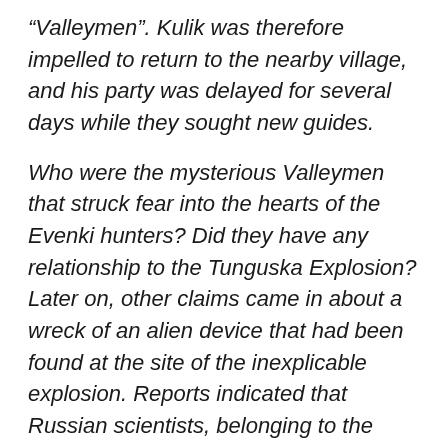“Valleymen”. Kulik was therefore impelled to return to the nearby village, and his party was delayed for several days while they sought new guides.
Who were the mysterious Valleymen that struck fear into the hearts of the Evenki hunters? Did they have any relationship to the Tunguska Explosion? Later on, other claims came in about a wreck of an alien device that had been found at the site of the inexplicable explosion. Reports indicated that Russian scientists, belonging to the Tunguska space phenomenon public state fund, said they found the remains of an extra-terrestrial apparatus that allegedly crashed near the Tunguska River in Siberia in 1908.
The mystery of the Tunguska event continues, yet now we have the Siberian mother and child issue to consider also.